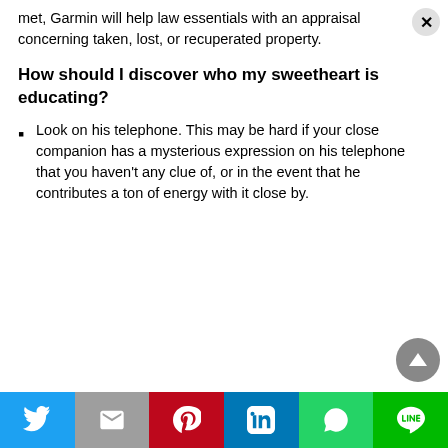met, Garmin will help law essentials with an appraisal concerning taken, lost, or recuperated property.
How should I discover who my sweetheart is educating?
Look on his telephone. This may be hard if your close companion has a mysterious expression on his telephone that you haven't any clue of, or in the event that he contributes a ton of energy with it close by.